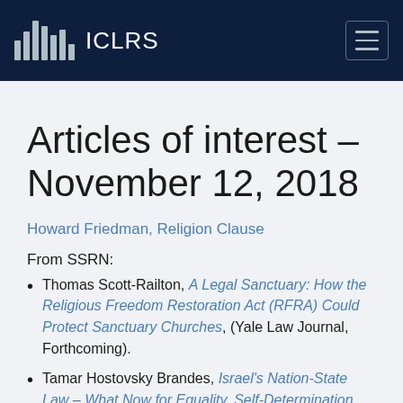ICLRS
Articles of interest – November 12, 2018
Howard Friedman, Religion Clause
From SSRN:
Thomas Scott-Railton, A Legal Sanctuary: How the Religious Freedom Restoration Act (RFRA) Could Protect Sanctuary Churches, (Yale Law Journal, Forthcoming).
Tamar Hostovsky Brandes, Israel's Nation-State Law – What Now for Equality, Self-Determination,